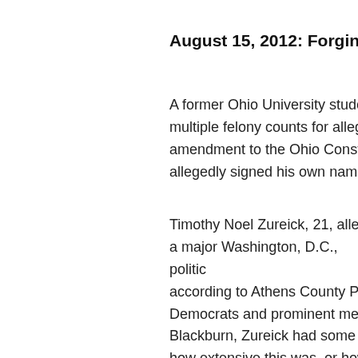August 15, 2012: Forging Sign
A former Ohio University stude multiple felony counts for alleg amendment to the Ohio Consti allegedly signed his own name
Timothy Noel Zureick, 21, allege a major Washington, D.C., politic according to Athens County Pr Democrats and prominent mem Blackburn, Zureick had some in how extensive this was, or how